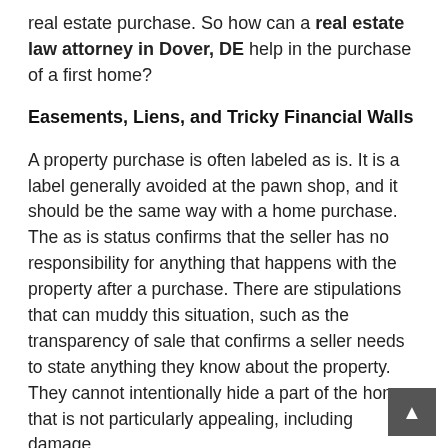real estate purchase. So how can a real estate law attorney in Dover, DE help in the purchase of a first home?
Easements, Liens, and Tricky Financial Walls
A property purchase is often labeled as is. It is a label generally avoided at the pawn shop, and it should be the same way with a home purchase. The as is status confirms that the seller has no responsibility for anything that happens with the property after a purchase. There are stipulations that can muddy this situation, such as the transparency of sale that confirms a seller needs to state anything they know about the property. They cannot intentionally hide a part of the home that is not particularly appealing, including damage.
A lawyer will review the property in one of two ways. They will almost always know someone who can do a